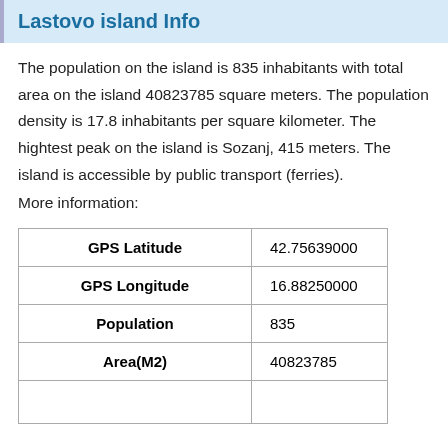Lastovo island Info
The population on the island is 835 inhabitants with total area on the island 40823785 square meters. The population density is 17.8 inhabitants per square kilometer. The hightest peak on the island is Sozanj, 415 meters. The island is accessible by public transport (ferries).
More information:
|  |  |
| --- | --- |
| GPS Latitude | 42.75639000 |
| GPS Longitude | 16.88250000 |
| Population | 835 |
| Area(M2) | 40823785 |